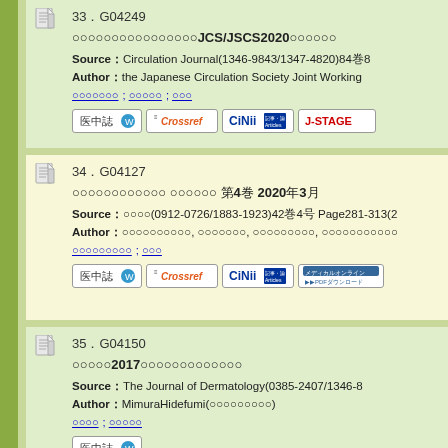33．G04249 ○○○○○○○○○○○○○○○○JCS/JSCS2020○○○○○○ Source：Circulation Journal(1346-9843/1347-4820)84巻8... Author：the Japanese Circulation Society Joint Working... ○○○○○○○; ○○○○○; ○○○
34．G04127 ○○○○○○○○○○○○ ○○○○○○ 第4巻 2020年3月 Source：○○○○(0912-0726/1883-1923)42巻4号 Page281-313(2... Author：○○○○○○○○○○, ○○○○○○○, ○○○○○○○○○, ○○○○○○○○○○○ ○○○○○○○○○; ○○○
35．G04150 ○○○○○2017○○○○○○○○○○○○○ Source：The Journal of Dermatology(0385-2407/1346-8... Author：MimuraHidefumi(○○○○○○○○○) ○○○○○; ○○○○○